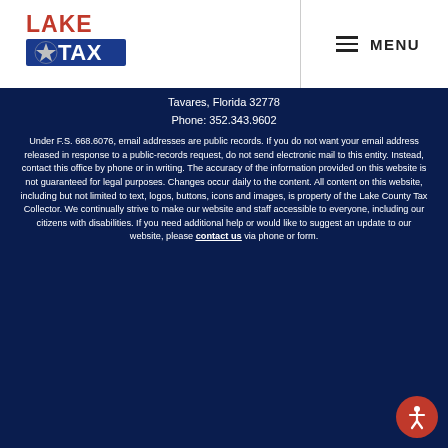[Figure (logo): Lake Tax logo with star and blue/red text]
MENU
Tavares, Florida 32778
Phone: 352.343.9602
Under F.S. 668.6076, email addresses are public records. If you do not want your email address released in response to a public-records request, do not send electronic mail to this entity. Instead, contact this office by phone or in writing. The accuracy of the information provided on this website is not guaranteed for legal purposes. Changes occur daily to the content. All content on this website, including but not limited to text, logos, buttons, icons and images, is property of the Lake County Tax Collector. We continually strive to make our website and staff accessible to everyone, including our citizens with disabilities. If you need additional help or would like to suggest an update to our website, please contact us via phone or form.